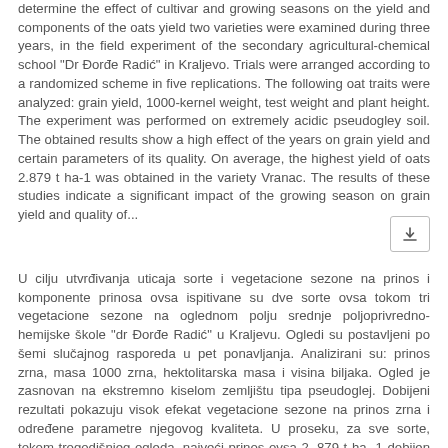determine the effect of cultivar and growing seasons on the yield and components of the oats yield two varieties were examined during three years, in the field experiment of the secondary agricultural-chemical school "Dr Đorđe Radić" in Kraljevo. Trials were arranged according to a randomized scheme in five replications. The following oat traits were analyzed: grain yield, 1000-kernel weight, test weight and plant height. The experiment was performed on extremely acidic pseudogley soil. The obtained results show a high effect of the years on grain yield and certain parameters of its quality. On average, the highest yield of oats 2.879 t ha-1 was obtained in the variety Vranac. The results of these studies indicate a significant impact of the growing season on grain yield and quality of...
U cilju utvrđivanja uticaja sorte i vegetacione sezone na prinos i komponente prinosa ovsa ispitivane su dve sorte ovsa tokom tri vegetacione sezone na oglednom polju srednje poljoprivredno-hemijske škole "dr Đorđe Radić" u Kraljevu. Ogledi su postavljeni po šemi slučajnog rasporeda u pet ponavljanja. Analizirani su: prinos zrna, masa 1000 zrna, hektolitarska masa i visina biljaka. Ogled je zasnovan na ekstremno kiselom zemljištu tipa pseudoglej. Dobijeni rezultati pokazuju visok efekat vegetacione sezone na prinos zrna i određene parametre njegovog kvaliteta. U proseku, za sve sorte, tokom trogodišnjeg ogleda, najveći prinos ovsa 2 .879 t ha -1 dobijen je kod sorte Vranac. Rezultati ovih istraživanja ukazuju na značajan uticaj vegetacione sezone na prinos zrna i kvalitet ovsa gajenog na siromašnim zemljištima tipa pseudoglej koje je često zastupljeno na području Zapadne Srbije. Prinos zrna pokazuje tendenciju rasta u godinama sa većom ukupnom količinom i boljom...